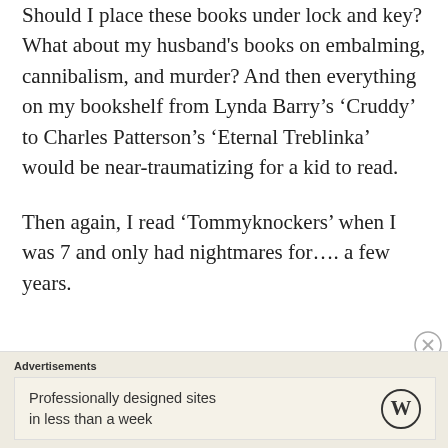Should I place these books under lock and key? What about my husband's books on embalming, cannibalism, and murder? And then everything on my bookshelf from Lynda Barry's 'Cruddy' to Charles Patterson's 'Eternal Treblinka' would be near-traumatizing for a kid to read.
Then again, I read 'Tommyknockers' when I was 7 and only had nightmares for…. a few years.
Advertisements
Professionally designed sites in less than a week